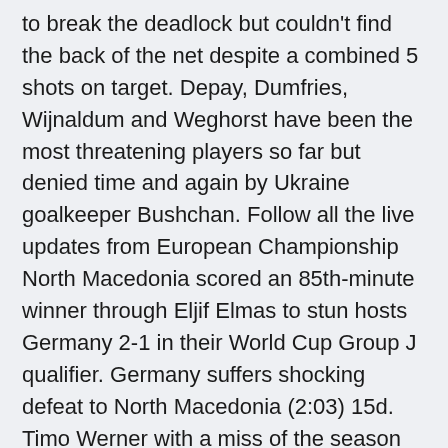to break the deadlock but couldn't find the back of the net despite a combined 5 shots on target. Depay, Dumfries, Wijnaldum and Weghorst have been the most threatening players so far but denied time and again by Ukraine goalkeeper Bushchan. Follow all the live updates from European Championship North Macedonia scored an 85th-minute winner through Eljif Elmas to stun hosts Germany 2-1 in their World Cup Group J qualifier. Germany suffers shocking defeat to North Macedonia (2:03) 15d. Timo Werner with a miss of the season contender (0:40) 15d. Pandev gives North Macedonia shock lead vs. Germany (1:05) 15d.